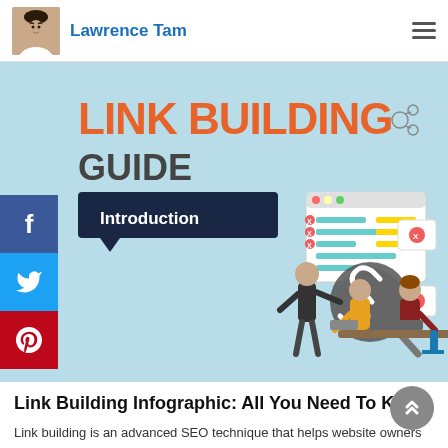Lawrence Tam
[Figure (infographic): Link Building Guide infographic showing Introduction section with text about SEO link building strategy, illustrations of people working at a desk, and a chain link icon in a magnifying glass. Background is light blue with orange and dark text.]
Link Building Infographic: All You Need To Know
Link building is an advanced SEO technique that helps website owners to increase the authority of their site by improving its ranking. As an SEO technique, it is